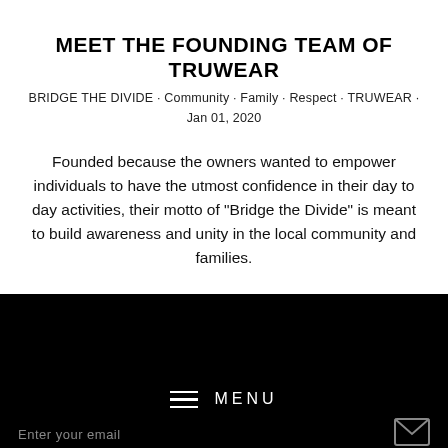MEET THE FOUNDING TEAM OF TRUWEAR
BRIDGE THE DIVIDE · Community · Family · Respect · TRUWEAR · Jan 01, 2020
Founded because the owners wanted to empower individuals to have the utmost confidence in their day to day activities, their motto of "Bridge the Divide" is meant to build awareness and unity in the local community and families.
≡ MENU
Enter your email